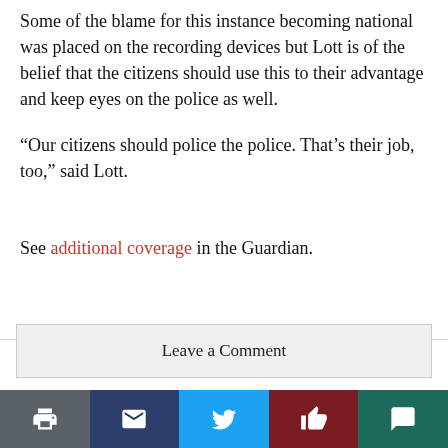Some of the blame for this instance becoming national was placed on the recording devices but Lott is of the belief that the citizens should use this to their advantage and keep eyes on the police as well.
“Our citizens should police the police. That’s their job, too,” said Lott.
See additional coverage in the Guardian.
Leave a Comment